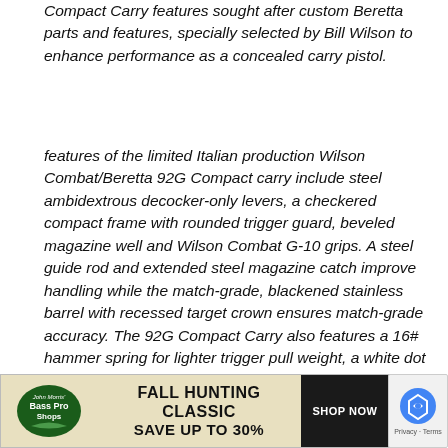Compact Carry features sought after custom Beretta parts and features, specially selected by Bill Wilson to enhance performance as a concealed carry pistol.
features of the limited Italian production Wilson Combat/Beretta 92G Compact carry include steel ambidextrous decocker-only levers, a checkered compact frame with rounded trigger guard, beveled magazine well and Wilson Combat G-10 grips. A steel guide rod and extended steel magazine catch improve handling while the match-grade, blackened stainless barrel with recessed target crown ensures match-grade accuracy. The 92G Compact Carry also features a 16# hammer spring for lighter trigger pull weight, a white dot integral front sight and a Wilson Combat rear battlesight.
The 92G Compact Carry is finished in Beretta bla Bru log in
[Figure (other): Bass Pro Shops advertisement banner: FALL HUNTING CLASSIC SAVE UP TO 30% with SHOP NOW button]